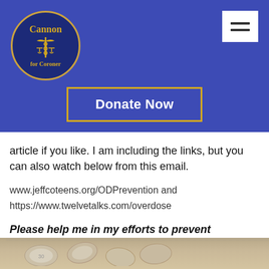[Figure (logo): Cannon for Coroner circular logo with dark blue background, gold caduceus and scales symbol, gold border, text 'Cannon' at top and 'for Coroner' at bottom in gold serif font]
[Figure (other): White hamburger menu button (three horizontal lines) on blue background, top right corner]
[Figure (other): Donate Now button with gold border on blue background]
article if you like. I am including the links, but you can also watch below from this email.
www.jeffcoteens.org/ODPrevention and https://www.twelvetalks.com/overdose
Please help me in my efforts to prevent overdoses and overdose deaths in Jefferson County.
[Figure (photo): Partial photo of round white/grey pills at the bottom of the page]